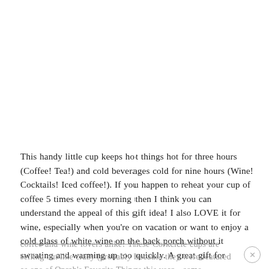This handy little cup keeps hot things hot for three hours (Coffee! Tea!) and cold beverages cold for nine hours (Wine! Cocktails! Iced coffee!). If you happen to reheat your cup of coffee 5 times every morning then I think you can understand the appeal of this gift idea! I also LOVE it for wine, especially when you're on vacation or want to enjoy a cold glass of white wine on the back porch without it sweating and warming up too quickly. A great gift for
coffee and wine lovers alike! These Corkcicle cups are selling out like crazy (probably because they were featured as one of Oprah's Favorite Things this year – some